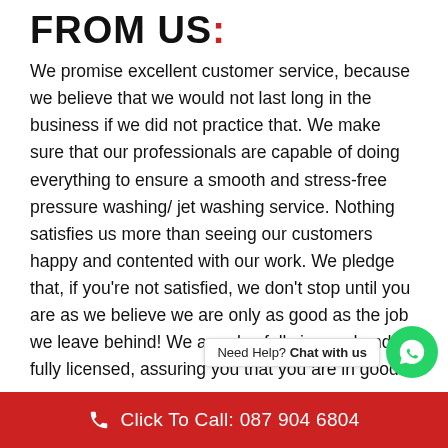FROM US:
We promise excellent customer service, because we believe that we would not last long in the business if we did not practice that. We make sure that our professionals are capable of doing everything to ensure a smooth and stress-free pressure washing/ jet washing service. Nothing satisfies us more than seeing our customers happy and contented with our work. We pledge that, if you're not satisfied, we don't stop until you are as we believe we are only as good as the job we leave behind! We are also fully insured and fully licensed, assuring you that you are in good hands. No Surprises! Before we sta... clients what their expectations are, and we submit... proposal based on that. Likewise, we also try our best
Click To Call: 087 904 6804